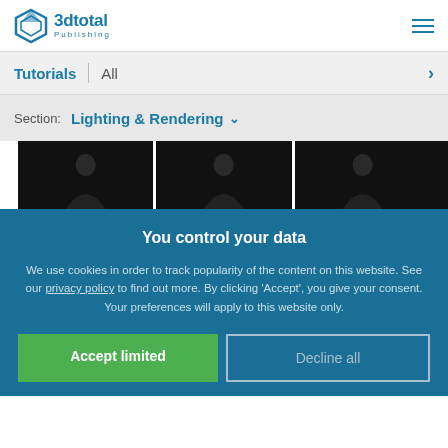3dtotal Publishing
Tutorials | All
Section: Lighting & Rendering
[Figure (photo): Three dark thumbnail images showing figure silhouettes in a horizontal row]
You control your data
We use cookies in order to track popularity of the content on this website. See our privacy policy to find out more. By clicking 'Accept', you give your consent. Your preferences will apply to this website only.
Accept limited
Decline all